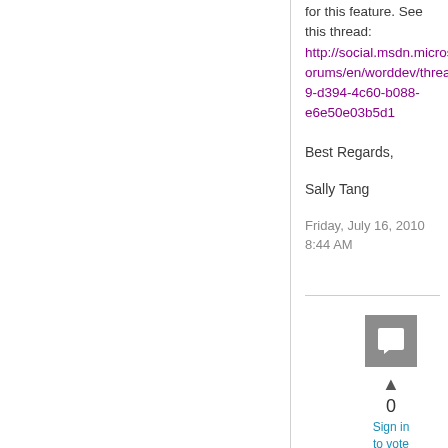for this feature. See this thread: http://social.msdn.microsoft.com/Forums/en/worddev/thread/24133799-d394-4c60-b088-e6e50e03b5d1
Best Regards,
Sally Tang
Friday, July 16, 2010 8:44 AM
[Figure (other): Comment/reply icon box (gray square with speech bubble icon), upvote arrow, vote count 0, and Sign in to vote link]